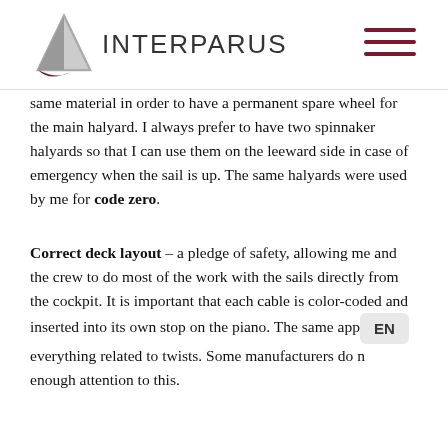INTERPARUS
same material in order to have a permanent spare wheel for the main halyard. I always prefer to have two spinnaker halyards so that I can use them on the leeward side in case of emergency when the sail is up. The same halyards were used by me for code zero.
Correct deck layout – a pledge of safety, allowing me and the crew to do most of the work with the sails directly from the cockpit. It is important that each cable is color-coded and inserted into its own stop on the piano. The same app[lies to] everything related to twists. Some manufacturers do [not pay] enough attention to this.